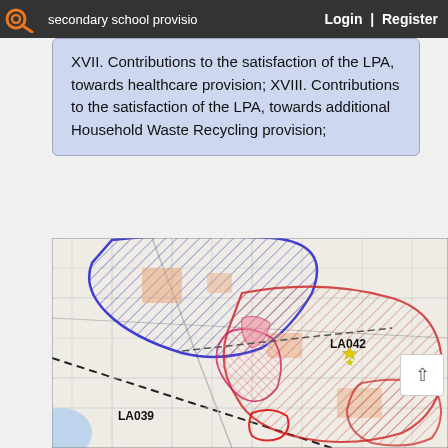secondary school provision  Login | Register
XVII. Contributions to the satisfaction of the LPA, towards healthcare provision; XVIII. Contributions to the satisfaction of the LPA, towards additional Household Waste Recycling provision;
[Figure (map): A planning map showing land allocation areas LA039 and LA042, with blue hatched zone in upper left and red/pink hatched zones in centre and right, overlaid on a street map background.]